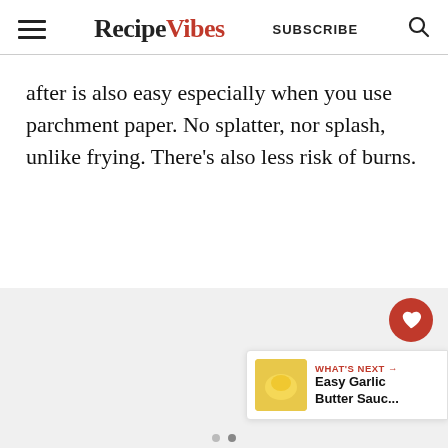RecipeVibes — SUBSCRIBE
after is also easy especially when you use parchment paper. No splatter, nor splash, unlike frying. There's also less risk of burns.
[Figure (other): Gray placeholder image area with floating heart (2.4K likes) and share buttons on the right side, and a 'What's Next' widget showing 'Easy Garlic Butter Sauc...' in the bottom right corner.]